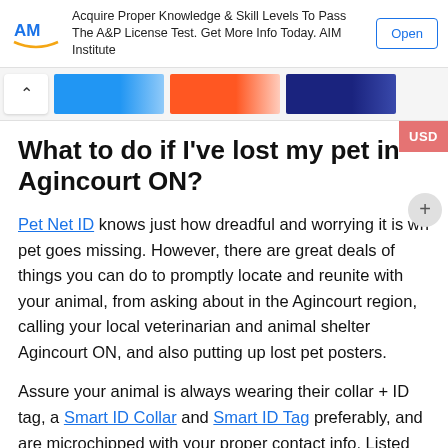[Figure (screenshot): Advertisement banner: AIM Institute logo, text 'Acquire Proper Knowledge & Skill Levels To Pass The A&P License Test. Get More Info Today. AIM Institute', and an 'Open' button]
[Figure (screenshot): Image strip showing a chevron/back arrow button and three partial thumbnail images with blue, orange, and navy backgrounds]
What to do if I've lost my pet in Agincourt ON?
Pet Net ID knows just how dreadful and worrying it is wh pet goes missing. However, there are great deals of things you can do to promptly locate and reunite with your animal, from asking about in the Agincourt region, calling your local veterinarian and animal shelter Agincourt ON, and also putting up lost pet posters.
Assure your animal is always wearing their collar + ID tag, a Smart ID Collar and Smart ID Tag preferably, and are microchipped with your proper contact info. Listed here are